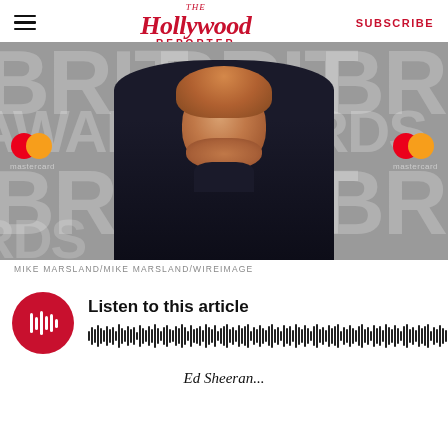The Hollywood Reporter | SUBSCRIBE
[Figure (photo): Ed Sheeran at the BRIT Awards, wearing a black turtleneck and blazer, photographed against a grey BRIT Awards step-and-repeat backdrop with Mastercard logos visible on both sides.]
MIKE MARSLAND/MIKE MARSLAND/WIREIMAGE
[Figure (infographic): Audio player widget with a red circular play button showing sound wave icon on the left, and 'Listen to this article' text above a waveform visualization on the right.]
Ed Sheeran...